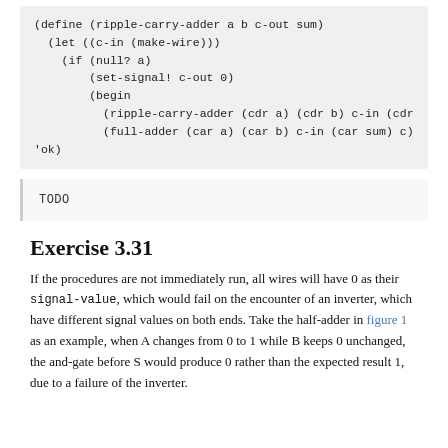TODO
Exercise 3.31
If the procedures are not immediately run, all wires will have 0 as their signal-value, which would fail on the encounter of an inverter, which have different signal values on both ends. Take the half-adder in figure 1 as an example, when A changes from 0 to 1 while B keeps 0 unchanged, the and-gate before S would produce 0 rather than the expected result 1, due to a failure of the inverter.